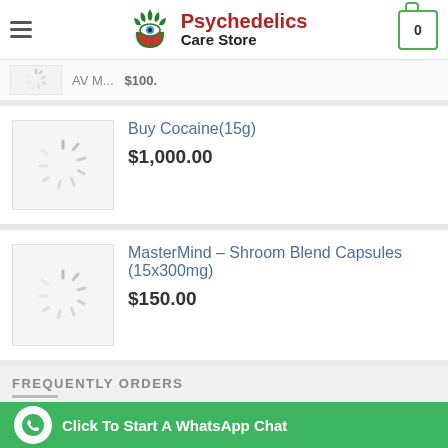Psychedelics Care Store
AV M... $100...
Buy Cocaine(15g)
$1,000.00
MasterMind – Shroom Blend Capsules (15x300mg)
$150.00
FREQUENTLY ORDERS
Buy 5-MeO-DMT
Click To Start A WhatsApp Chat